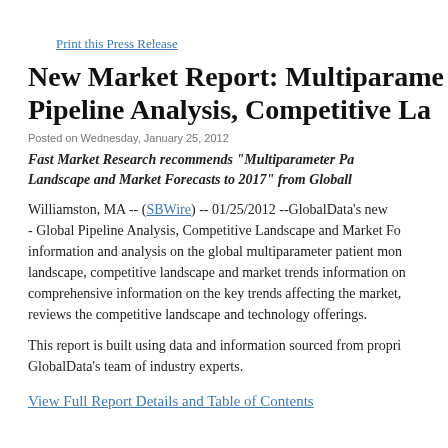Print this Press Release
New Market Report: Multiparameter Pipeline Analysis, Competitive La
Posted on Wednesday, January 25, 2012
Fast Market Research recommends "Multiparameter Pa Landscape and Market Forecasts to 2017" from Globall
Williamston, MA -- (SBWire) -- 01/25/2012 --GlobalData's new - Global Pipeline Analysis, Competitive Landscape and Market Fo information and analysis on the global multiparameter patient mon landscape, competitive landscape and market trends information on comprehensive information on the key trends affecting the market, reviews the competitive landscape and technology offerings.
This report is built using data and information sourced from propri GlobalData's team of industry experts.
View Full Report Details and Table of Contents